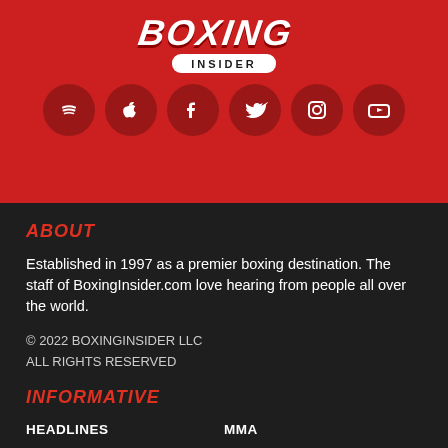[Figure (logo): Boxing Insider logo — stylized graffiti-style 'BOXING' text above 'INSIDER' in white pill badge on red background]
[Figure (infographic): Row of 6 circular social media icons on red background: Spotify, Apple, Facebook, Twitter, Instagram, YouTube]
ABOUT
Established in 1997 as a premier boxing destination. The staff of BoxingInsider.com love hearing from people all over the world.
© 2022 BOXINGINSIDER LLC
ALL RIGHTS RESERVED
INFORMATIVE
HEADLINES
MMA